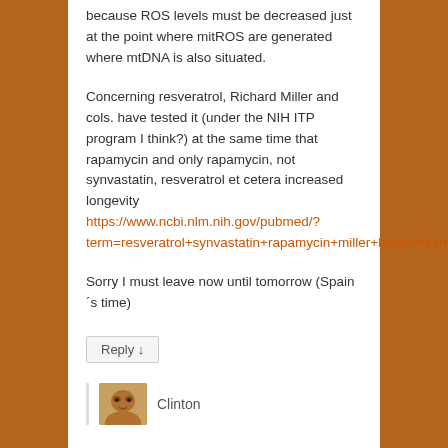because ROS levels must be decreased just at the point where mitROS are generated where mtDNA is also situated.
Concerning resveratrol, Richard Miller and cols. have tested it (under the NIH ITP program I think?) at the same time that rapamycin and only rapamycin, not synvastatin, resveratrol et cetera increased longevity https://www.ncbi.nlm.nih.gov/pubmed/?term=resveratrol+synvastatin+rapamycin+miller+longevity+mouse
Sorry I must leave now until tomorrow (Spain´s time)
Reply ↓
Clinton